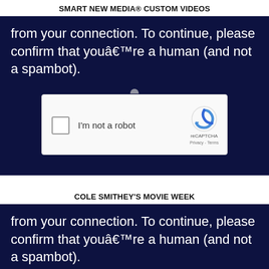SMART NEW MEDIA® CUSTOM VIDEOS
from your connection. To continue, please confirm that youâ€™re a human (and not a spambot).
[Figure (screenshot): reCAPTCHA widget with checkbox labeled 'I'm not a robot' and reCAPTCHA logo with Privacy and Terms links]
COLE SMITHEY'S MOVIE WEEK
from your connection. To continue, please confirm that youâ€™re a human (and not a spambot).
[Figure (screenshot): reCAPTCHA widget with checkbox labeled 'I'm not a robot' and reCAPTCHA logo (partially visible)]